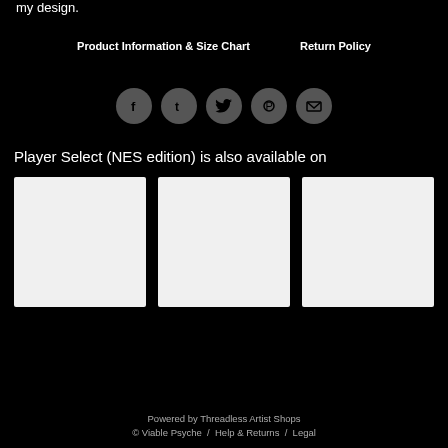my design.
Product Information & Size Chart    Return Policy
[Figure (other): Row of five social media icon circles: Facebook, Tumblr, Twitter, Pinterest, Email]
Player Select (NES edition) is also available on
[Figure (other): Three light gray product image placeholders side by side]
Powered by Threadless Artist Shops
© Viable Psyche  /  Help & Returns  /  Legal